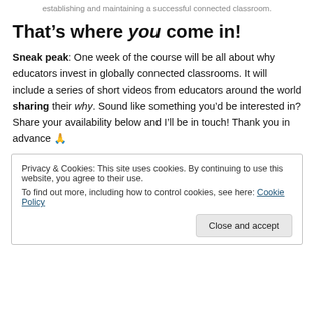establishing and maintaining a successful connected classroom.
That’s where you come in!
Sneak peak: One week of the course will be all about why educators invest in globally connected classrooms. It will include a series of short videos from educators around the world sharing their why. Sound like something you’d be interested in? Share your availability below and I’ll be in touch! Thank you in advance 🙏
Privacy & Cookies: This site uses cookies. By continuing to use this website, you agree to their use.
To find out more, including how to control cookies, see here: Cookie Policy
Close and accept